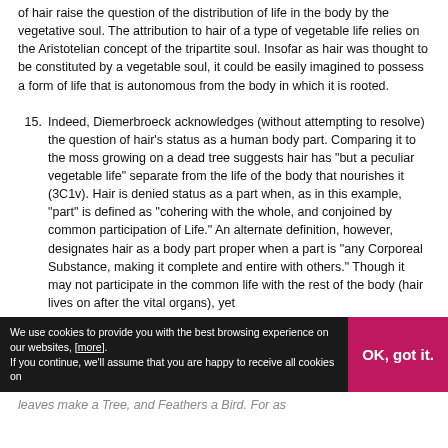of hair raise the question of the distribution of life in the body by the vegetative soul. The attribution to hair of a type of vegetable life relies on the Aristotelian concept of the tripartite soul. Insofar as hair was thought to be constituted by a vegetable soul, it could be easily imagined to possess a form of life that is autonomous from the body in which it is rooted.
15. Indeed, Diemerbroeck acknowledges (without attempting to resolve) the question of hair’s status as a human body part. Comparing it to the moss growing on a dead tree suggests hair has “but a peculiar vegetable life” separate from the life of the body that nourishes it (3C1v). Hair is denied status as a part when, as in this example, “part” is defined as “cohering with the whole, and conjoined by common participation of Life.” An alternate definition, however, designates hair as a body part proper when a part is “any Corporeal Substance, making it complete and entire with others.” Though it may not participate in the common life with the rest of the body (hair lives on after the vital organs), yet
We use cookies to provide you with the best browsing experience on our websites, [more]. If you continue, we’ll assume that you are happy to receive all cookies on
leaves make a Tree, and Feathers a Bird. For as